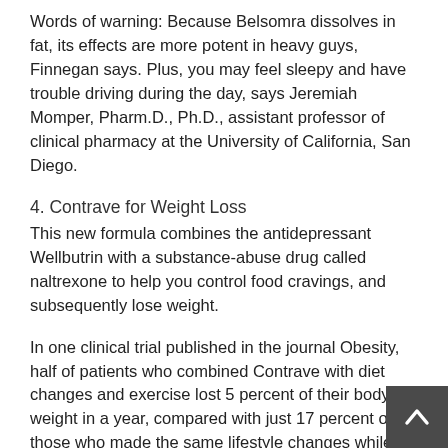Words of warning: Because Belsomra dissolves in fat, its effects are more potent in heavy guys, Finnegan says. Plus, you may feel sleepy and have trouble driving during the day, says Jeremiah Momper, Pharm.D., Ph.D., assistant professor of clinical pharmacy at the University of California, San Diego.
4. Contrave for Weight Loss
This new formula combines the antidepressant Wellbutrin with a substance-abuse drug called naltrexone to help you control food cravings, and subsequently lose weight.
In one clinical trial published in the journal Obesity, half of patients who combined Contrave with diet changes and exercise lost 5 percent of their body weight in a year, compared with just 17 percent of those who made the same lifestyle changes while taking a placebo.
Words of warning: Like any weight-loss drug, Contrave isn't a magical pill to help you shed those last 5 pounds, says Cha... Seltzer, M.D., an obesity medicine specialist in Philadelphia.